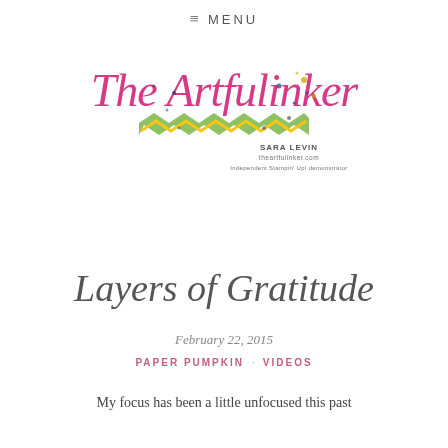≡ MENU
[Figure (logo): The Artfulinker logo with cursive script text 'The Artfulinker' in pink/magenta, with a green chevron pattern and gold dots, and text 'SARA LEVIN theartfulinker.com Independent Stampin' Up! demonstrator']
Layers of Gratitude
February 22, 2015
PAPER PUMPKIN · VIDEOS
My focus has been a little unfocused this past